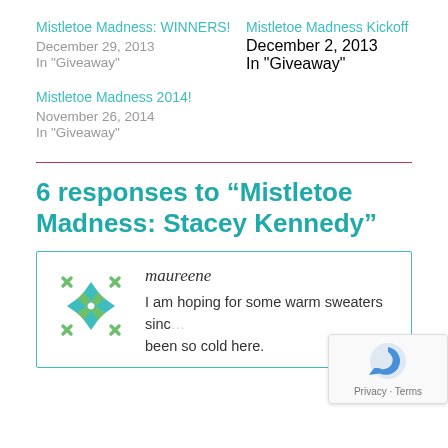Mistletoe Madness: WINNERS!
December 29, 2013
In "Giveaway"
Mistletoe Madness Kickoff
December 2, 2013
In "Giveaway"
Mistletoe Madness 2014!
November 26, 2014
In "Giveaway"
6 responses to “Mistletoe Madness: Stacey Kennedy”
maureene
I am hoping for some warm sweaters since been so cold here.